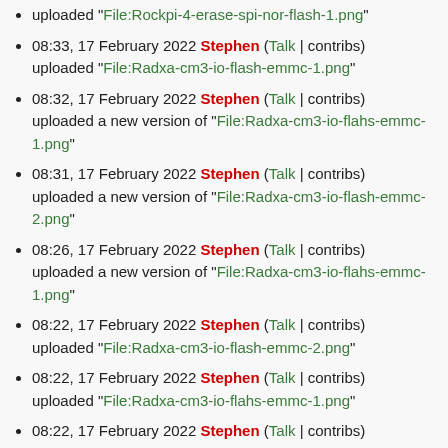uploaded "File:Rockpi-4-erase-spi-nor-flash-1.png"
08:33, 17 February 2022 Stephen (Talk | contribs) uploaded "File:Radxa-cm3-io-flash-emmc-1.png"
08:32, 17 February 2022 Stephen (Talk | contribs) uploaded a new version of "File:Radxa-cm3-io-flahs-emmc-1.png"
08:31, 17 February 2022 Stephen (Talk | contribs) uploaded a new version of "File:Radxa-cm3-io-flash-emmc-2.png"
08:26, 17 February 2022 Stephen (Talk | contribs) uploaded a new version of "File:Radxa-cm3-io-flahs-emmc-1.png"
08:22, 17 February 2022 Stephen (Talk | contribs) uploaded "File:Radxa-cm3-io-flash-emmc-2.png"
08:22, 17 February 2022 Stephen (Talk | contribs) uploaded "File:Radxa-cm3-io-flahs-emmc-1.png"
08:22, 17 February 2022 Stephen (Talk | contribs) uploaded "File:Radxa-cm3-io-erase-emmc-4.png"
08:21, 17 February 2022 Stephen (Talk | contribs)